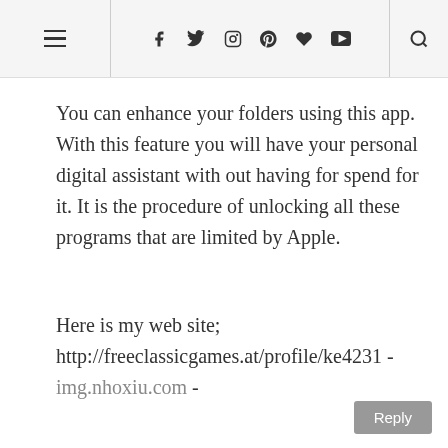≡  f  ✓  ◻  ℗  ♥  ▶  🔍
You can enhance your folders using this app. With this feature you will have your personal digital assistant with out having for spend for it. It is the procedure of unlocking all these programs that are limited by Apple.
Here is my web site; http://freeclassicgames.at/profile/ke4231 - img.nhoxiu.com -